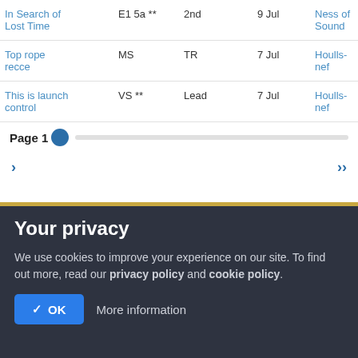| Route | Grade | Style | Date | Crag |
| --- | --- | --- | --- | --- |
| In Search of Lost Time | E1 5a ** | 2nd | 9 Jul | Ness of Sound |
| Top rope recce | MS | TR | 7 Jul | Houlls-nef |
| This is launch control | VS ** | Lead | 7 Jul | Houlls-nef |
Page 1
›  ››
Your privacy
We use cookies to improve your experience on our site. To find out more, read our privacy policy and cookie policy.
✓ OK  More information